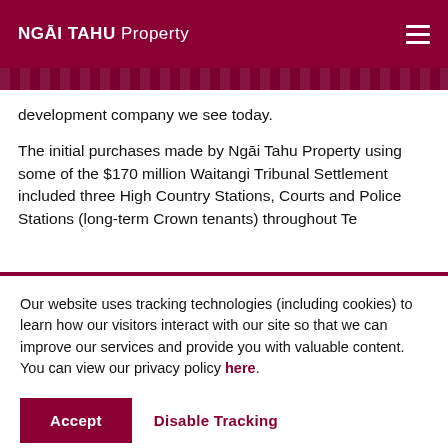NGĀI TAHU Property
development company we see today.
The initial purchases made by Ngāi Tahu Property using some of the $170 million Waitangi Tribunal Settlement included three High Country Stations, Courts and Police Stations (long-term Crown tenants) throughout Te
Our website uses tracking technologies (including cookies) to learn how our visitors interact with our site so that we can improve our services and provide you with valuable content. You can view our privacy policy here.
Accept | Disable Tracking
Partnerships